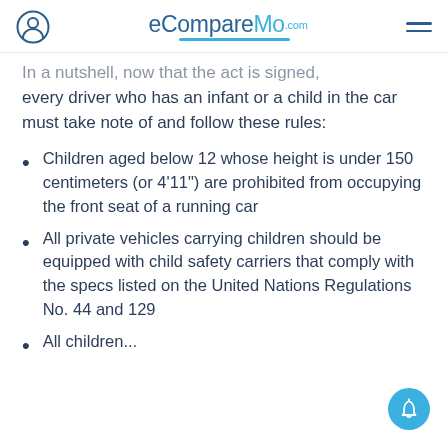eCompareMo.com
In a nutshell, now that the act is signed, every driver who has an infant or a child in the car must take note of and follow these rules:
Children aged below 12 whose height is under 150 centimeters (or 4'11") are prohibited from occupying the front seat of a running car
All private vehicles carrying children should be equipped with child safety carriers that comply with the specs listed on the United Nations Regulations No. 44 and 129
All children...